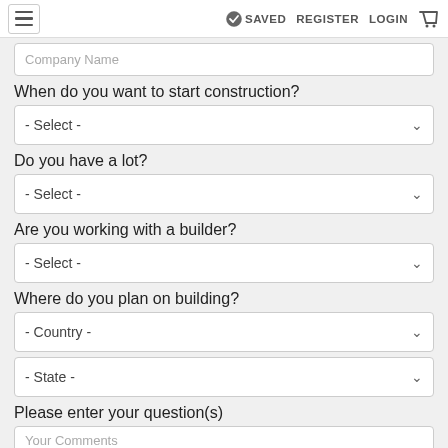≡  SAVED  REGISTER  LOGIN  🛒
Company Name
When do you want to start construction?
- Select -
Do you have a lot?
- Select -
Are you working with a builder?
- Select -
Where do you plan on building?
- Country -
- State -
Please enter your question(s)
Your Comments